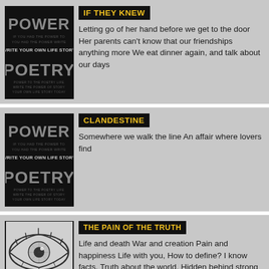[Figure (logo): Power Poetry - Write Your Own Life Story logo, black background with stylized text]
IF THEY KNEW
Letting go of her hand before we get to the door Her parents can't know that our friendships anything more We eat dinner again, and talk about our days
[Figure (logo): Power Poetry - Write Your Own Life Story logo, black background with stylized text]
CLANDESTINE
Somewhere we walk the line An affair where lovers find
[Figure (illustration): Pencil sketch illustration of a human eye with dramatic shading]
THE PAIN OF THE TRUTH
Life and death War and creation Pain and happiness Life with you, How to define? I know facts, Truth about the world. Hidden behind strong walls Built of pain and anger